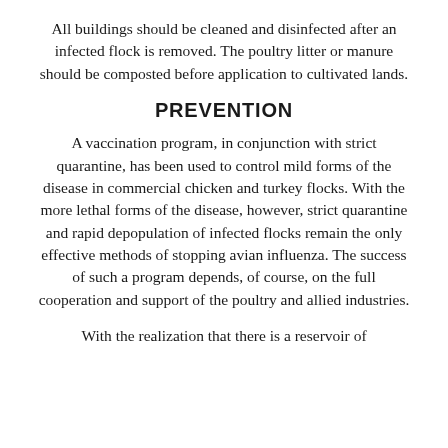All buildings should be cleaned and disinfected after an infected flock is removed. The poultry litter or manure should be composted before application to cultivated lands.
PREVENTION
A vaccination program, in conjunction with strict quarantine, has been used to control mild forms of the disease in commercial chicken and turkey flocks. With the more lethal forms of the disease, however, strict quarantine and rapid depopulation of infected flocks remain the only effective methods of stopping avian influenza. The success of such a program depends, of course, on the full cooperation and support of the poultry and allied industries.
With the realization that there is a reservoir of